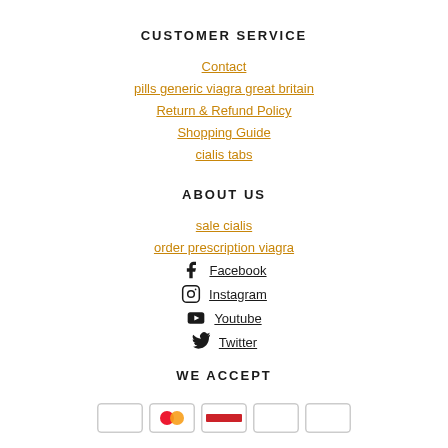CUSTOMER SERVICE
Contact
pills generic viagra great britain
Return & Refund Policy
Shopping Guide
cialis tabs
ABOUT US
sale cialis
order prescription viagra
Facebook
Instagram
Youtube
Twitter
WE ACCEPT
[Figure (other): Payment method icons row: Visa, Mastercard, and other cards]